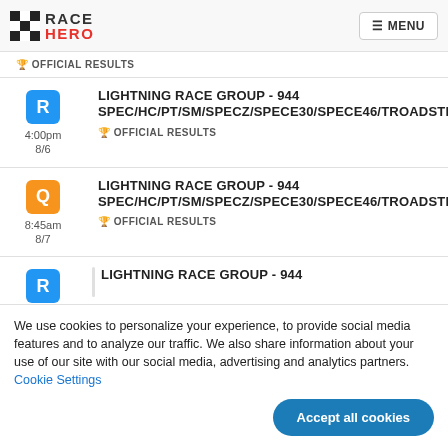RACE HERO — MENU
OFFICIAL RESULTS
R 4:00pm 8/6 — LIGHTNING RACE GROUP - 944 SPEC/HC/PT/SM/SPECZ/SPECE30/SPECE46/ROADSTER — OFFICIAL RESULTS
Q 8:45am 8/7 — LIGHTNING RACE GROUP - 944 SPEC/HC/PT/SM/SPECZ/SPECE30/SPECE46/ROADSTER — OFFICIAL RESULTS
LIGHTNING RACE GROUP - 944 (partial)
We use cookies to personalize your experience, to provide social media features and to analyze our traffic. We also share information about your use of our site with our social media, advertising and analytics partners. Cookie Settings
Accept all cookies